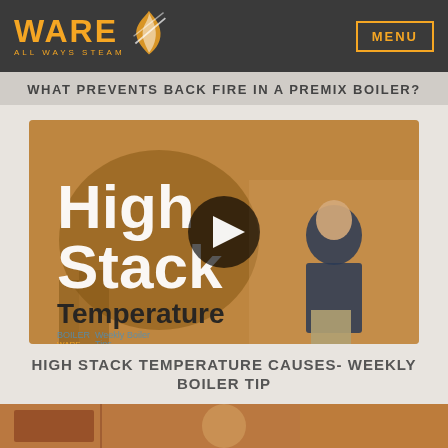WARE ALL WAYS STEAM | MENU
WHAT PREVENTS BACK FIRE IN A PREMIX BOILER?
[Figure (screenshot): Video thumbnail for 'High Stack Temperature Causes - Weekly Boiler Tip' showing a man in a dark polo shirt standing in front of industrial boiler equipment, with text overlay reading 'High Stack Temperature' and a play button in the center. Orange/sepia color treatment applied to background.]
HIGH STACK TEMPERATURE CAUSES- WEEKLY BOILER TIP